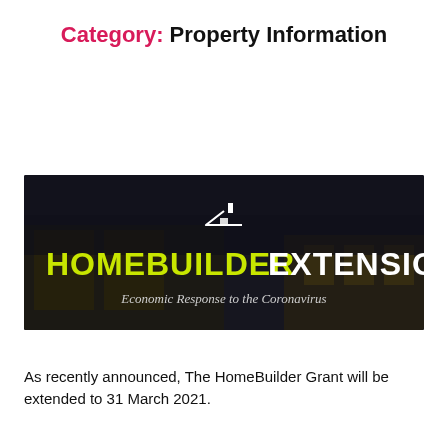Category: Property Information
[Figure (illustration): Dark banner image with a building/house at night. Text overlay reads 'HOMEBUILDER EXTENSION' in large text with lime green 'HOMEBUILDER' and white 'EXTENSION'. Below is italic text: 'Economic Response to the Coronavirus'. A white house icon outline appears at the top center.]
As recently announced, The HomeBuilder Grant will be extended to 31 March 2021.